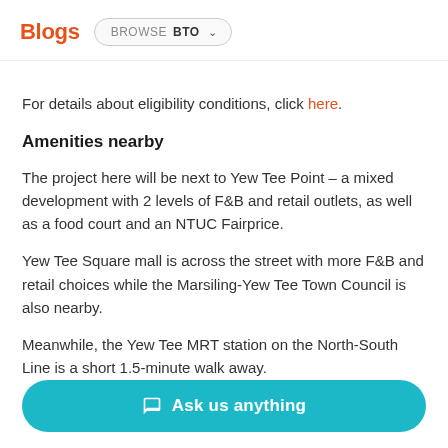Blogs  BROWSE BTO
For details about eligibility conditions, click here.
Amenities nearby
The project here will be next to Yew Tee Point – a mixed development with 2 levels of F&B and retail outlets, as well as a food court and an NTUC Fairprice.
Yew Tee Square mall is across the street with more F&B and retail choices while the Marsiling-Yew Tee Town Council is also nearby.
Meanwhile, the Yew Tee MRT station on the North-South Line is a short 1.5-minute walk away.
...
Ask us anything